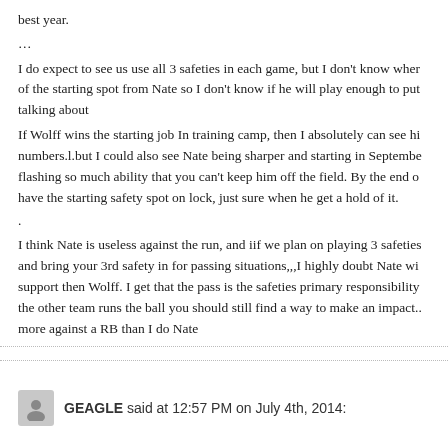best year.
…
I do expect to see us use all 3 safeties in each game, but I don't know when of the starting spot from Nate so I don't know if he will play enough to put talking about
If Wolff wins the starting job In training camp, then I absolutely can see hi numbers.l.but I could also see Nate being sharper and starting in September, flashing so much ability that you can't keep him off the field. By the end o have the starting safety spot on lock, just sure when he get a hold of it.
.
I think Nate is useless against the run, and iif we plan on playing 3 safeties and bring your 3rd safety in for passing situations,,,I highly doubt Nate wi support then Wolff. I get that the pass is the safeties primary responsibility the other team runs the ball you should still find a way to make an impact.. more against a RB than I do Nate
GEAGLE said at 12:57 PM on July 4th, 2014: